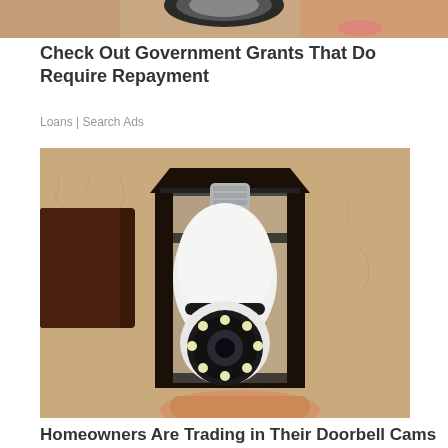[Figure (photo): Cropped top portion of an advertisement image showing a person with pink lipstick and a security camera device]
Check Out Government Grants That Do Require Repayment
Loans | Search Ads
[Figure (photo): A white light bulb security camera being installed into a black outdoor lantern wall fixture mounted on a textured stucco wall]
Homeowners Are Trading in Their Doorbell Cams